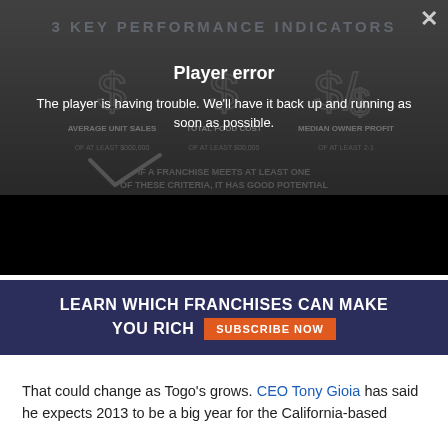[Figure (screenshot): Video player area showing '3 KEY PERFORMANCE INDICATORS' with dollar sign icons and performance criteria text, with a player error overlay dialog]
Player error
The player is having trouble. We'll have it back up and running as soon as possible.
[Figure (infographic): Dark navy banner: LEARN WHICH FRANCHISES CAN MAKE YOU RICH with SUBSCRIBE NOW orange button]
That could change as Togo's grows. CEO Tony Gioia has said he expects 2013 to be a big year for the California-based